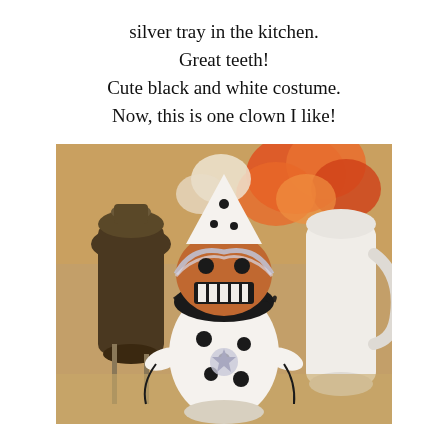silver tray in the kitchen. Great teeth! Cute black and white costume. Now, this is one clown I like!
[Figure (photo): A Halloween decorative figurine resembling a pumpkin-headed clown in a white and black polka-dot costume with a pointed white hat, silver tinsel collar trim, and a black ruffle collar. The figurine is displayed on a table with a dark urn/vase on the left and a white ceramic pitcher on the right, with orange and red flowers in the background.]